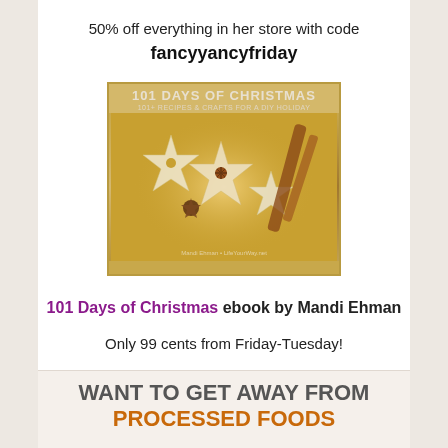50% off everything in her store with code fancyyancyfriday
[Figure (illustration): Book cover for '101 Days of Christmas: 101+ Recipes & Crafts for a DIY Holiday' by Mandi Ehman, showing star anise and cinnamon sticks on a warm golden background with snowflake cookie cutters]
101 Days of Christmas ebook by Mandi Ehman
Only 99 cents from Friday-Tuesday!
WANT TO GET AWAY FROM PROCESSED FOODS